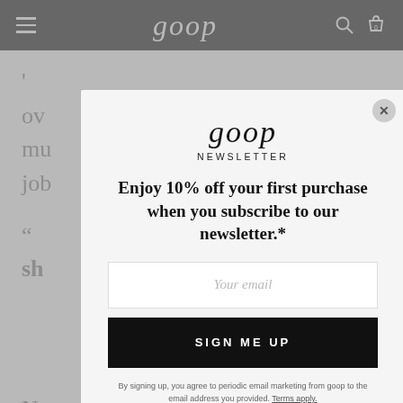goop
[Figure (screenshot): Goop website screenshot showing navigation bar with hamburger menu, goop logo, search and cart icons on a grey background]
over mu job
sh ing
Ne a visu bump at the base of the neck and eventually degeneration of the spine. Forward
[Figure (screenshot): Goop newsletter subscription modal overlay with email input and sign up button]
goop
NEWSLETTER
Enjoy 10% off your first purchase when you subscribe to our newsletter.*
Your email
SIGN ME UP
By signing up, you agree to periodic email marketing from goop to the email address you provided. Terms apply. Web Terms and Conditions. Privacy and Cookie Policy.